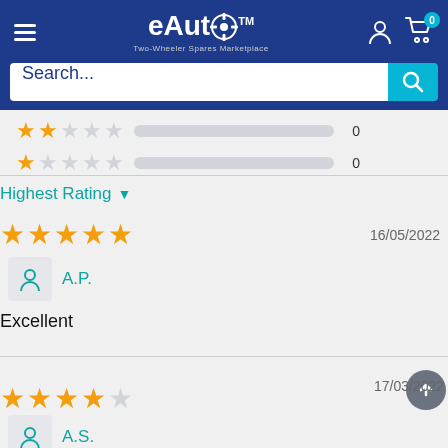[Figure (screenshot): eAuto Two-Wheeler Spares Marketplace website header with hamburger menu, logo, user/cart icons (cart showing 0 badge), and a search bar with cyan search button]
2 stars: 0, 1 star: 0
Highest Rating
16/05/2022
A.P.
Excellent
17/03/2022
A.S.